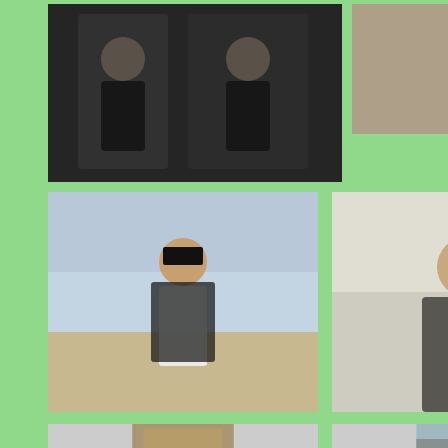[Figure (photo): Two people in black shirts standing together, fitness/gym setting]
[Figure (photo): Woman in black jacket seated, resting chin on hand]
[Figure (photo): Woman in dark top and skirt posing on steps outdoors]
[Figure (photo): Woman in graduation cap and gown standing on beach]
[Figure (photo): Young woman smiling in casual outfit indoors]
[Figure (photo): Woman standing by a pond/lake with trees and fountain]
Processed with VSCO with a6 preset
[Figure (photo): Building exterior, architectural/travel photo]
[Figure (photo): Woman outdoors with landscape background]
[Figure (photo): Outdoor landscape or scenic view]